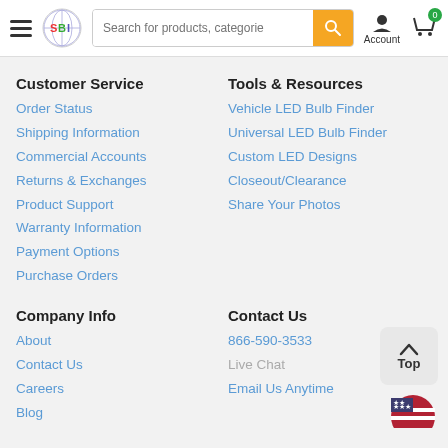Site header with hamburger menu, logo, search bar, account icon, and cart
Customer Service
Order Status
Shipping Information
Commercial Accounts
Returns & Exchanges
Product Support
Warranty Information
Payment Options
Purchase Orders
Tools & Resources
Vehicle LED Bulb Finder
Universal LED Bulb Finder
Custom LED Designs
Closeout/Clearance
Share Your Photos
Company Info
About
Contact Us
Careers
Blog
Contact Us
866-590-3533
Live Chat
Email Us Anytime